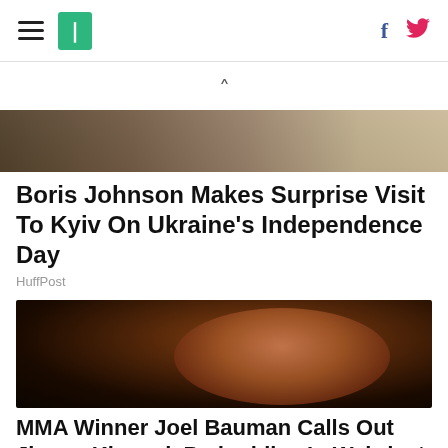HuffPost navigation header with hamburger menu, logo, Facebook and Twitter icons
[Figure (photo): Partially visible image at top, appears to show people in light-colored clothing]
Boris Johnson Makes Surprise Visit To Kyiv On Ukraine's Independence Day
HuffPost
[Figure (photo): Close-up photo of MMA fighter Joel Bauman, sweating, wearing a leather strap, with another person visible in background, in a dark arena setting]
MMA Winner Joel Bauman Calls Out Jimmy Kimmel, Pedophiles In Weirdest Post-Fight